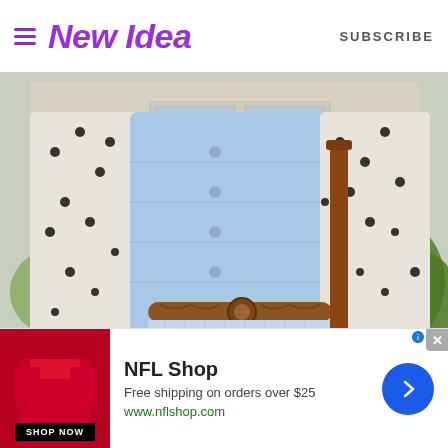New Idea | SUBSCRIBE
[Figure (photo): Close-up photo of a woman wearing a white polka-dot long-sleeve top, a light blue quilted vest, a light blue mini skirt, a braided brown leather belt, and carrying a brown leather satchel bag. Background shows outdoor suburban setting with plants.]
[Figure (infographic): NFL Shop advertisement banner. Shows red NFL apparel product image on left, SHOP NOW button in black. Text: NFL Shop, Free shipping on orders over $25, www.nflshop.com. Blue circular arrow button on right. Grey X close button top right.]